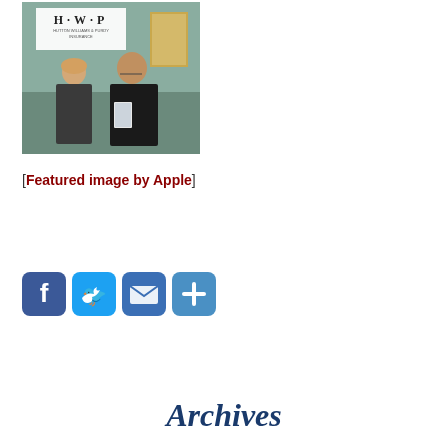[Figure (photo): Two people standing inside an office with an H·W·P sign on the wall. A woman on the left and a man on the right holding a small book or device.]
[Featured image by Apple]
[Figure (infographic): Four social media share buttons: Facebook, Twitter, Email, and a plus/share button]
Archives